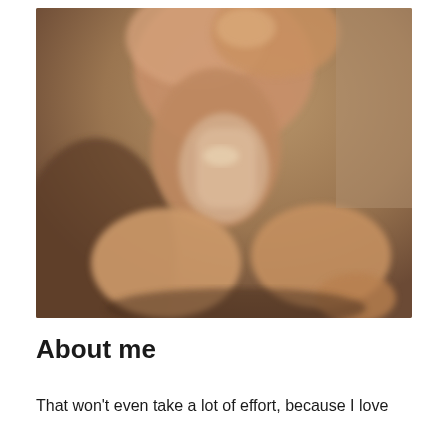[Figure (photo): A person with warm skin tones seated in a crossed-leg position, photographed from the torso down, against a muted brown background. The image is blurred/soft focus.]
About me
That won't even take a lot of effort, because I love